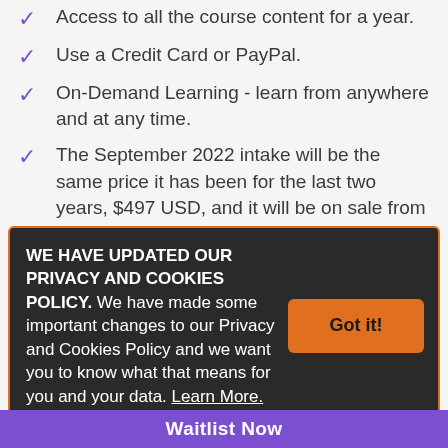Access to all the course content for a year.
Use a Credit Card or PayPal.
On-Demand Learning - learn from anywhere and at any time.
The September 2022 intake will be the same price it has been for the last two years, $497 USD, and it will be on sale from 1-9 Sept22.
WE HAVE UPDATED OUR PRIVACY AND COOKIES POLICY. We have made some important changes to our Privacy and Cookies Policy and we want you to know what that means for you and your data. Learn More.
Waitlist Now